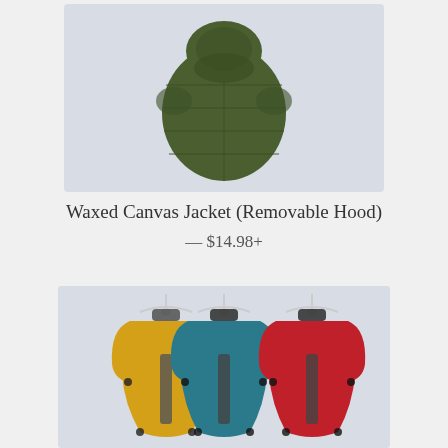[Figure (photo): Top-down view of an olive green quilted dog jacket on a light gray background]
Waxed Canvas Jacket (Removable Hood)
— $14.98+
[Figure (photo): Three dog raincoats on hangers — yellow/gold, teal/blue, and red — each with a reflective stripe down the back, displayed on a light gray background]